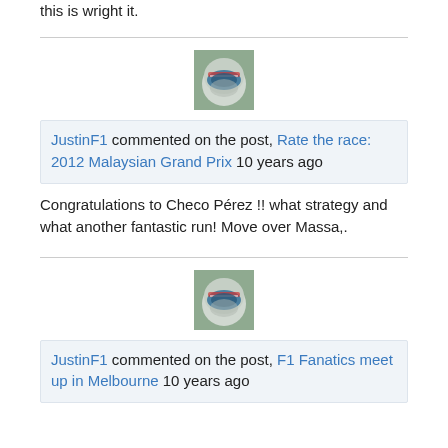this is wright it.
[Figure (photo): Avatar image of a racing driver wearing a helmet, top section of page]
JustinF1 commented on the post, Rate the race: 2012 Malaysian Grand Prix 10 years ago
Congratulations to Checo Pérez !! what strategy and what another fantastic run! Move over Massa,.
[Figure (photo): Avatar image of a racing driver wearing a helmet, bottom section of page]
JustinF1 commented on the post, F1 Fanatics meet up in Melbourne 10 years ago